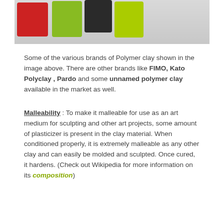[Figure (photo): Bottom portion of a photograph showing various brands of Polymer clay packages including colorful boxes with red, green, dark, and lime-colored packaging on a light gray surface.]
Some of the various brands of Polymer clay shown in the image above. There are other brands like FIMO, Kato Polyclay , Pardo and some unnamed polymer clay available in the market as well.
Malleability : To make it malleable for use as an art medium for sculpting and other art projects, some amount of plasticizer is present in the clay material. When conditioned properly, it is extremely malleable as any other clay and can easily be molded and sculpted. Once cured, it hardens. (Check out Wikipedia for more information on its composition)